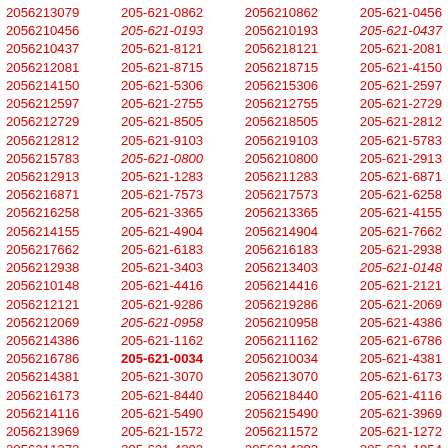2056213079 205-621-0862 2056210862 205-621-0456 2056210456 205-621-0193 2056210193 205-621-0437 2056210437 205-621-8121 2056218121 205-621-2081 2056212081 205-621-8715 2056218715 205-621-4150 2056214150 205-621-5306 2056215306 205-621-2597 2056212597 205-621-2755 2056212755 205-621-2729 2056212729 205-621-8505 2056218505 205-621-2812 2056212812 205-621-9103 2056219103 205-621-5783 2056215783 205-621-0800 2056210800 205-621-2913 2056212913 205-621-1283 2056211283 205-621-6871 2056216871 205-621-7573 2056217573 205-621-6258 2056216258 205-621-3365 2056213365 205-621-4155 2056214155 205-621-4904 2056214904 205-621-7662 2056217662 205-621-6183 2056216183 205-621-2938 2056212938 205-621-3403 2056213403 205-621-0148 2056210148 205-621-4416 2056214416 205-621-2121 2056212121 205-621-9286 2056219286 205-621-2069 2056212069 205-621-0958 2056210958 205-621-4386 2056214386 205-621-1162 2056211162 205-621-6786 2056216786 205-621-0034 2056210034 205-621-4381 2056214381 205-621-3070 2056213070 205-621-6173 2056216173 205-621-8440 2056218440 205-621-4116 2056214116 205-621-5490 2056215490 205-621-3969 2056213969 205-621-1572 2056211572 205-621-1272 2056211272 205-621-4393 2056214393 205-621-1954